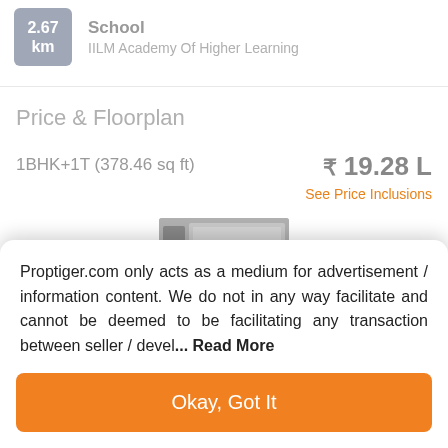2.67 km
School
IILM Academy Of Higher Learning
Price & Floorplan
1BHK+1T (378.46 sq ft)
₹ 19.28 L
See Price Inclusions
[Figure (photo): Floorplan image thumbnail placeholder]
Proptiger.com only acts as a medium for advertisement / information content. We do not in any way facilitate and cannot be deemed to be facilitating any transaction between seller / devel... Read More
Okay, Got It